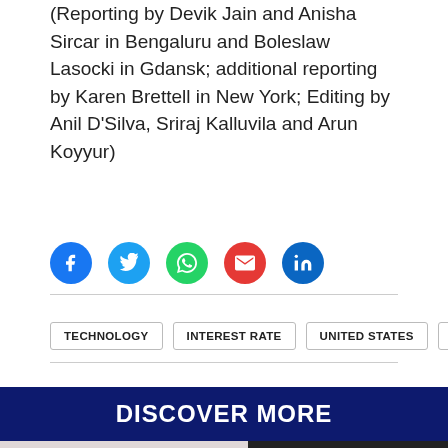(Reporting by Devik Jain and Anisha Sircar in Bengaluru and Boleslaw Lasocki in Gdansk; additional reporting by Karen Brettell in New York; Editing by Anil D'Silva, Sriraj Kalluvila and Arun Koyyur)
[Figure (infographic): Row of five social media sharing icons: Facebook (blue circle), Twitter (blue circle), WhatsApp (green circle), Email (red circle), LinkedIn (blue circle)]
TECHNOLOGY
INTEREST RATE
UNITED STATES
EQUITIES
DISCOVER MORE
[Figure (photo): Two partial photos side by side at the bottom of the page, partially cropped.]